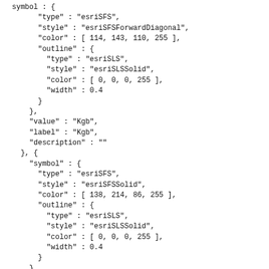symbol : {
  "type" : "esriSFS",
  "style" : "esriSFSForwardDiagonal",
  "color" : [ 114, 143, 110, 255 ],
  "outline" : {
    "type" : "esriSLS",
    "style" : "esriSLSSolid",
    "color" : [ 0, 0, 0, 255 ],
    "width" : 0.4
  }
},
"value" : "Kgb",
"label" : "Kgb",
"description" : ""
}, {
  "symbol" : {
    "type" : "esriSFS",
    "style" : "esriSFSSolid",
    "color" : [ 138, 214, 86, 255 ],
    "outline" : {
      "type" : "esriSLS",
      "style" : "esriSLSSolid",
      "color" : [ 0, 0, 0, 255 ],
      "width" : 0.4
    }
  },
  "value" : "Kgc",
  "label" : "Kgc",
  "description" : ""
}, {
  "symbol" : {
    "type" : "esriSFS",
    "style" : "esriSFSSolid",
    "color" : [ 137, 137, 68, 255 ],
    "outline" : {
      "type" : "esriSLS",
      "style" : "esriSLSSolid",
      "color" : [ 0, 0, 0, 255 ],